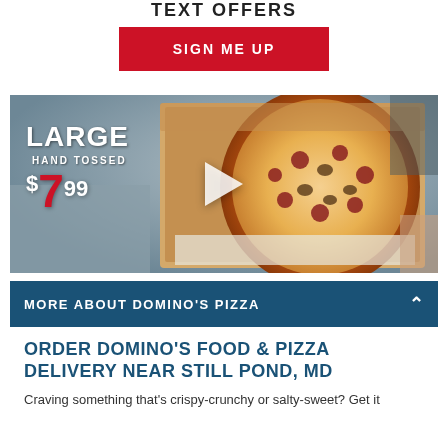TEXT OFFERS
SIGN ME UP
[Figure (photo): Domino's pizza in an open box with text overlay: LARGE HAND TOSSED $7.99 and a video play button in the center]
MORE ABOUT DOMINO'S PIZZA
ORDER DOMINO'S FOOD & PIZZA DELIVERY NEAR STILL POND, MD
Craving something that's crispy-crunchy or salty-sweet? Get it